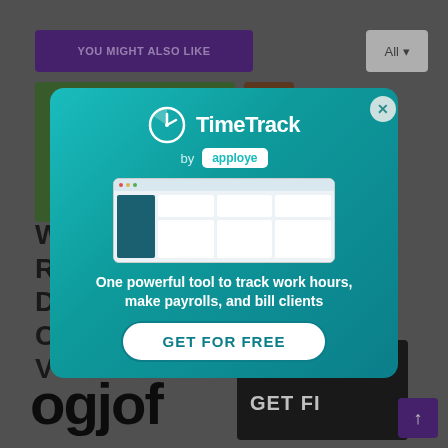YOU MIGHT ALSO LIKE
[Figure (screenshot): Background webpage with 'YOU MIGHT ALSO LIKE' header, article thumbnails, large 'ogjof' text, and 'GET FI' button]
[Figure (screenshot): TimeTrack by apploye modal popup overlay showing logo, app dashboard screenshot, tagline 'One powerful tool to track work hours, make payrolls, and bill clients', and 'GET FOR FREE' call-to-action button]